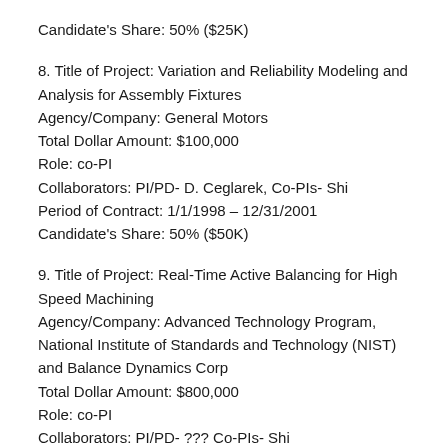Candidate's Share: 50% ($25K)
8. Title of Project: Variation and Reliability Modeling and Analysis for Assembly Fixtures
Agency/Company: General Motors
Total Dollar Amount: $100,000
Role: co-PI
Collaborators: PI/PD- D. Ceglarek, Co-PIs- Shi
Period of Contract: 1/1/1998 – 12/31/2001
Candidate's Share: 50% ($50K)
9. Title of Project: Real-Time Active Balancing for High Speed Machining
Agency/Company: Advanced Technology Program, National Institute of Standards and Technology (NIST) and Balance Dynamics Corp
Total Dollar Amount: $800,000
Role: co-PI
Collaborators: PI/PD- ??? Co-PIs- Shi